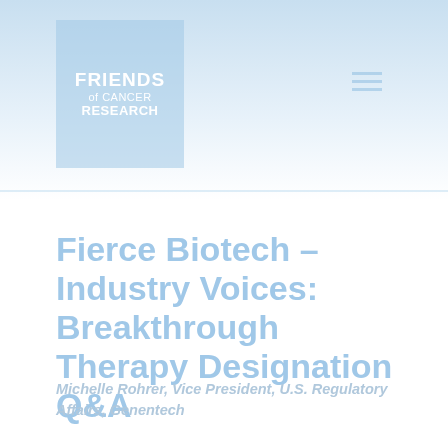[Figure (logo): Friends of Cancer Research logo — white text on light blue square background. Text reads FRIENDS of CANCER RESEARCH.]
Fierce Biotech – Industry Voices: Breakthrough Therapy Designation Q&A
Michelle Rohrer, Vice President, U.S. Regulatory Affairs, Genentech